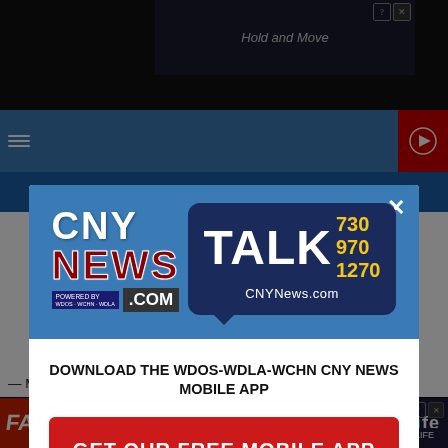[Figure (screenshot): Screenshot of CNY News website with a popup modal overlay. The modal has two sections: top blue section with CNY News Talk 730 970 1270 logo, and bottom white section with download app prompt. Behind the modal, partial article text is visible showing bullet points about median age and demographic breakdown. A BitLife ad banner appears at the bottom.]
DOWNLOAD THE WDOS-WDLA-WCHN CNY NEWS MOBILE APP
GET OUR FREE MOBILE APP
— Median age: 73
— Breakdown by sex: 45.5% male, 54.5% female
— Breakdown by ...